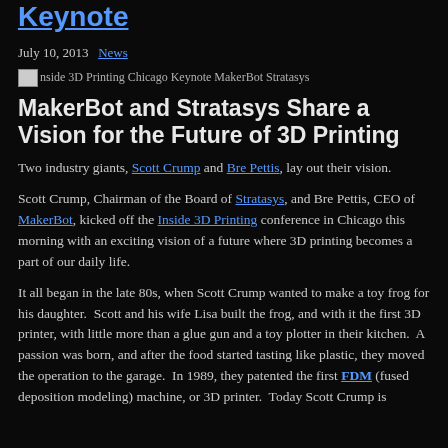Keynote
July 10, 2013   News
[Figure (photo): Inside 3D Printing Chicago Keynote MakerBot Stratasys image thumbnail]
MakerBot and Stratasys Share a Vision for the Future of 3D Printing
Two industry giants, Scott Crump and Bre Pettis, lay out their vision.
Scott Crump, Chairman of the Board of Stratasys, and Bre Pettis, CEO of MakerBot, kicked off the Inside 3D Printing conference in Chicago this morning with an exciting vision of a future where 3D printing becomes a part of our daily life.
It all began in the late 80s, when Scott Crump wanted to make a toy frog for his daughter.  Scott and his wife Lisa built the frog, and with it the first 3D printer, with little more than a glue gun and a toy plotter in their kitchen.  A passion was born, and after the food started tasting like plastic, they moved the operation to the garage.  In 1989, they patented the first FDM (fused deposition modeling) machine, or 3D printer.  Today Scott Crump is